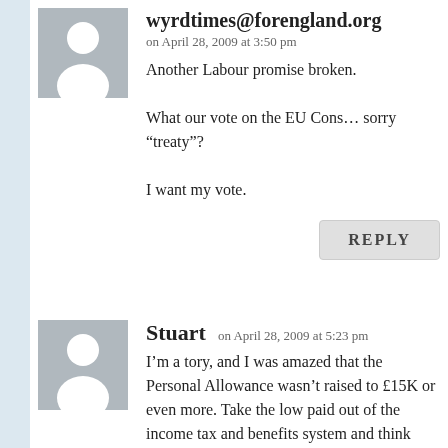[Figure (illustration): Grey avatar placeholder with white silhouette (head and shoulders) for comment 1]
wyrdtimes@forengland.org
on April 28, 2009 at 3:50 pm
Another Labour promise broken.

What our vote on the EU Cons… sorry “treaty”?

I want my vote.
REPLY
[Figure (illustration): Grey avatar placeholder with white silhouette (head and shoulders) for comment 2]
Stuart
on April 28, 2009 at 5:23 pm
I’m a tory, and I was amazed that the Personal Allowance wasn’t raised to £15K or even more. Take the low paid out of the income tax and benefits system and think about the